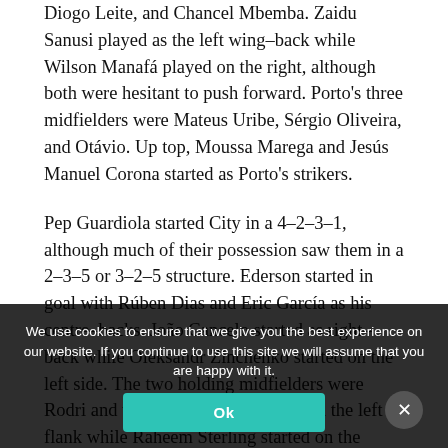Diogo Leite, and Chancel Mbemba. Zaidu Sanusi played as the left wing-back while Wilson Manafá played on the right, although both were hesitant to push forward. Porto's three midfielders were Mateus Uribe, Sérgio Oliveira, and Otávio. Up top, Moussa Marega and Jesús Manuel Corona started as Porto's strikers.
Pep Guardiola started City in a 4-2-3-1, although much of their possession saw them in a 2-3-5 or 3-2-5 structure. Ederson started in goal with Rúben Dias and Eric García as his centre-backs. João Cancelo started as right-back while Oleksandr Zinchenko started on the left side. The two holding midfielders were Rodri and them. Phil Foden started on the left flank while Raheem Sterling started on the right, and Ferran Torres started the match as their striker.
We use cookies to ensure that we give you the best experience on our website. If you continue to use this site we will assume that you are happy with it.